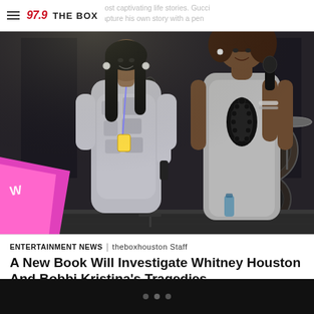97.9 THE BOX
[Figure (photo): Two women on a concert stage. A younger woman on the left in a patterned dress with a lanyard/badge, smiling. An older woman on the right in a gray sleeveless dress holding a microphone. Stage equipment including drums visible in background. A pink sign/flag visible at bottom left.]
ENTERTAINMENT NEWS | theboxhouston Staff
A New Book Will Investigate Whitney Houston And Bobbi Kristina’s Tragedies